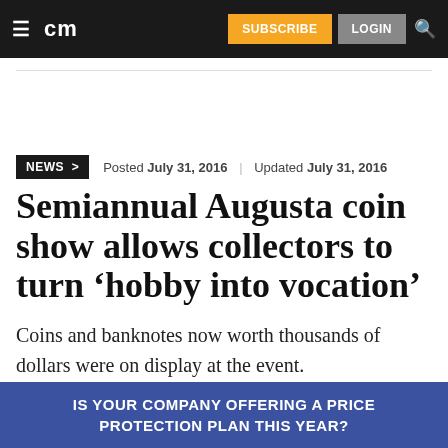cm | SUBSCRIBE | LOGIN
Posted July 31, 2016 | Updated July 31, 2016
Semiannual Augusta coin show allows collectors to turn ‘hobby into vocation’
Coins and banknotes now worth thousands of dollars were on display at the event.
IS YOUR COMPANY OFFERING A PRICE PROTECTION PLAN THIS YEAR?